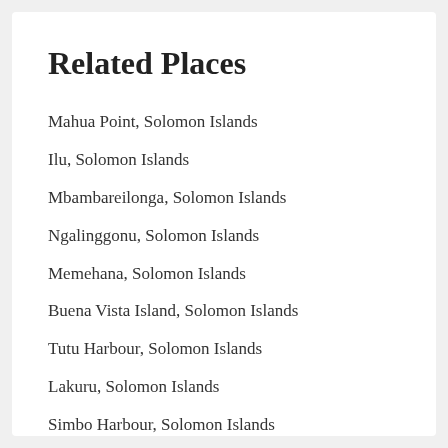Related Places
Mahua Point, Solomon Islands
Ilu, Solomon Islands
Mbambareilonga, Solomon Islands
Ngalinggonu, Solomon Islands
Memehana, Solomon Islands
Buena Vista Island, Solomon Islands
Tutu Harbour, Solomon Islands
Lakuru, Solomon Islands
Simbo Harbour, Solomon Islands